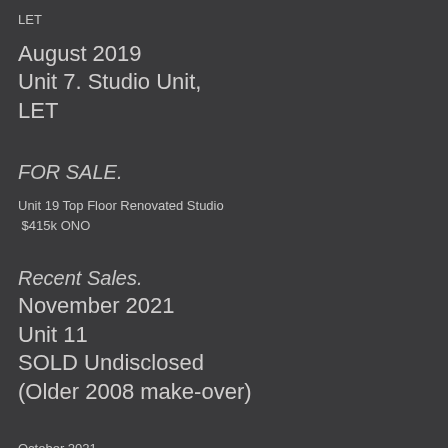LET
August 2019
Unit 7. Studio Unit,
LET
FOR SALE.
Unit 19 Top Floor Renovated Studio
$415k ONO
Recent Sales.
November 2021
Unit 11
SOLD Undisclosed
(Older 2008 make-over)
October 2021
Unit 13